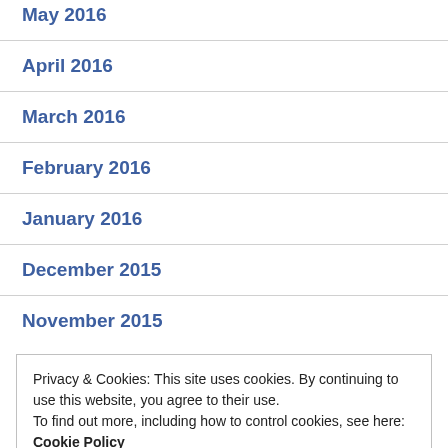May 2016
April 2016
March 2016
February 2016
January 2016
December 2015
November 2015
Privacy & Cookies: This site uses cookies. By continuing to use this website, you agree to their use.
To find out more, including how to control cookies, see here: Cookie Policy
Close and accept
Uncategorized